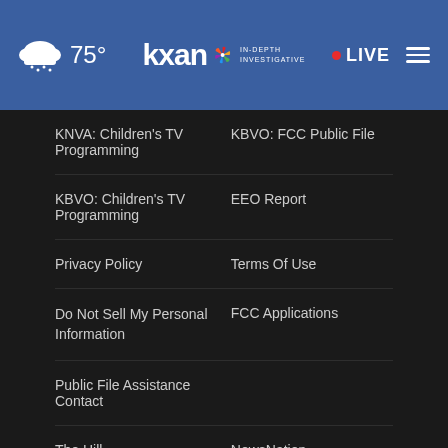KXAN IN-DEPTH INVESTIGATIVE | 75° | LIVE
KNVA: Children's TV Programming
KBVO: FCC Public File
KBVO: Children's TV Programming
EEO Report
Privacy Policy
Terms Of Use
Do Not Sell My Personal Information
FCC Applications
Public File Assistance Contact
The Hill
NewsNation
BestRev...
Nexstar Digital
[Figure (screenshot): Petco advertisement banner: 'Your One-Stop Summer Pet Shop' with Petco logo and navigation icon]